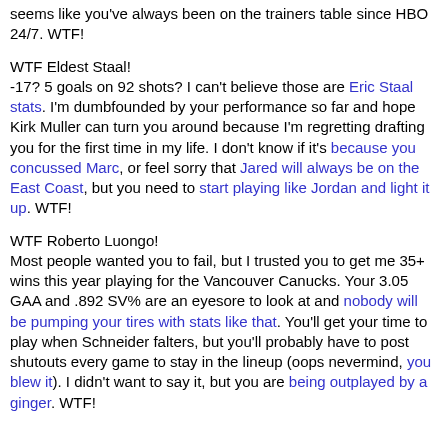seems like you've always been on the trainers table since HBO 24/7. WTF!
WTF Eldest Staal!
-17? 5 goals on 92 shots? I can't believe those are Eric Staal stats. I'm dumbfounded by your performance so far and hope Kirk Muller can turn you around because I'm regretting drafting you for the first time in my life. I don't know if it's because you concussed Marc, or feel sorry that Jared will always be on the East Coast, but you need to start playing like Jordan and light it up. WTF!
WTF Roberto Luongo!
Most people wanted you to fail, but I trusted you to get me 35+ wins this year playing for the Vancouver Canucks. Your 3.05 GAA and .892 SV% are an eyesore to look at and nobody will be pumping your tires with stats like that. You'll get your time to play when Schneider falters, but you'll probably have to post shutouts every game to stay in the lineup (oops nevermind, you blew it). I didn't want to say it, but you are being outplayed by a ginger. WTF!